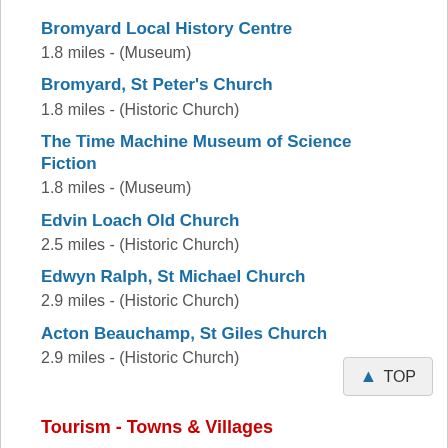Bromyard Local History Centre
1.8 miles - (Museum)
Bromyard, St Peter's Church
1.8 miles - (Historic Church)
The Time Machine Museum of Science Fiction
1.8 miles - (Museum)
Edvin Loach Old Church
2.5 miles - (Historic Church)
Edwyn Ralph, St Michael Church
2.9 miles - (Historic Church)
Acton Beauchamp, St Giles Church
2.9 miles - (Historic Church)
Tourism - Towns & Villages